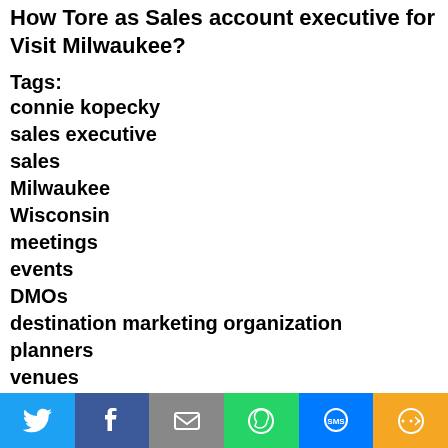How Tore as Sales account executive for Visit Milwaukee?
Tags:
connie kopecky
sales executive
sales
Milwaukee
Wisconsin
meetings
events
DMOs
destination marketing organization
planners
venues
visit
visitors
attendees
groups
guests
hospitality